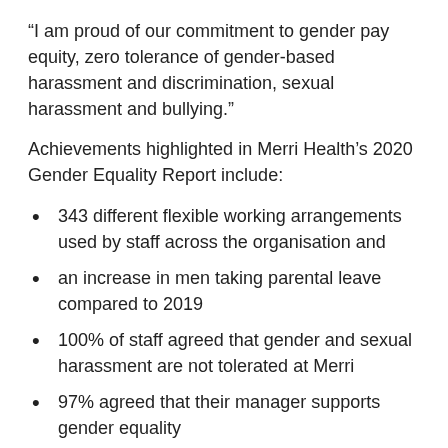“I am proud of our commitment to gender pay equity, zero tolerance of gender-based harassment and discrimination, sexual harassment and bullying.”
Achievements highlighted in Merri Health’s 2020 Gender Equality Report include:
343 different flexible working arrangements used by staff across the organisation and
an increase in men taking parental leave compared to 2019
100% of staff agreed that gender and sexual harassment are not tolerated at Merri
97% agreed that their manager supports gender equality
The Employer of Choice for Gender Equality citation is a voluntary leading-practice recognition program that recognises organisations’ active commitment to achieving gender equality in Australian workplaces.